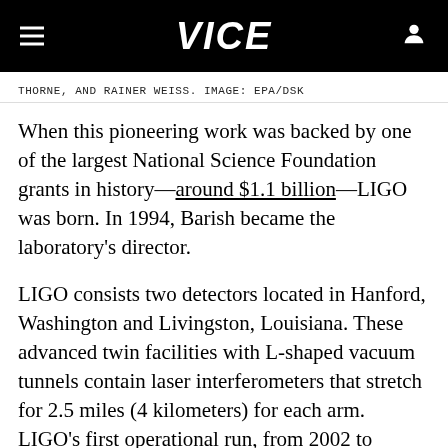VICE
THORNE, AND RAINER WEISS. IMAGE: EPA/DSK
When this pioneering work was backed by one of the largest National Science Foundation grants in history—around $1.1 billion—LIGO was born. In 1994, Barish became the laboratory's director.
LIGO consists two detectors located in Hanford, Washington and Livingston, Louisiana. These advanced twin facilities with L-shaped vacuum tunnels contain laser interferometers that stretch for 2.5 miles (4 kilometers) for each arm. LIGO's first operational run, from 2002 to